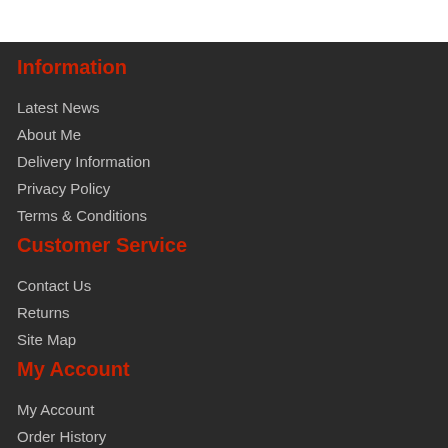Information
Latest News
About Me
Delivery Information
Privacy Policy
Terms & Conditions
Customer Service
Contact Us
Returns
Site Map
My Account
My Account
Order History